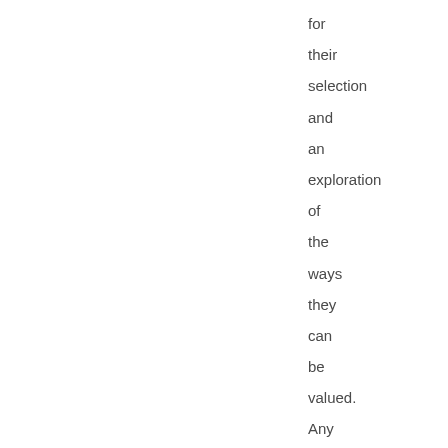for their selection and an exploration of the ways they can be valued. Any non- health effects and